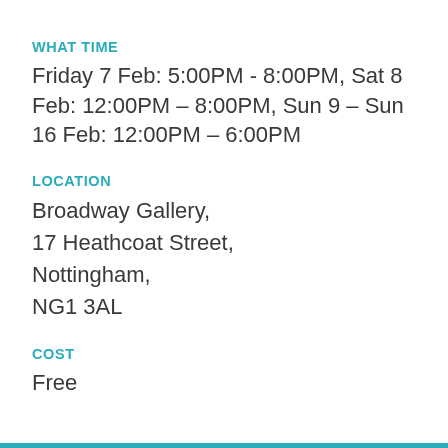WHAT TIME
Friday 7 Feb: 5:00PM - 8:00PM, Sat 8 Feb: 12:00PM – 8:00PM, Sun 9 – Sun 16 Feb: 12:00PM – 6:00PM
LOCATION
Broadway Gallery,
17 Heathcoat Street,
Nottingham,
NG1 3AL
COST
Free